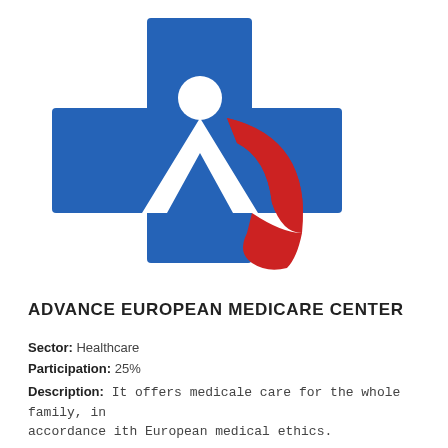[Figure (logo): Advance European Medicare Center logo: a blue medical cross shape with a stylized white and red human figure inside, arms raised, with a red curved wing/cape element on the right side.]
ADVANCE EUROPEAN MEDICARE CENTER
Sector: Healthcare
Participation: 25%
Description: It offers medicale care for the whole family, in accordance ith European medical ethics.